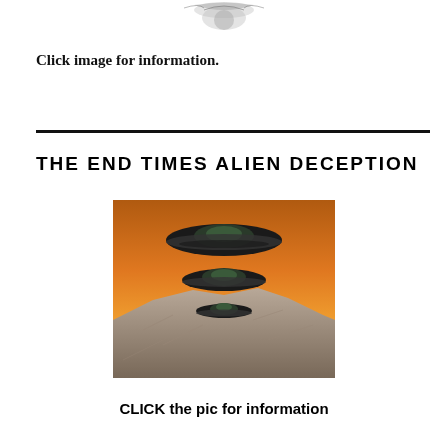[Figure (illustration): Partial decorative illustration at top of page, showing what appears to be an ornate or fantasy-style image cropped at the top edge]
Click image for information.
[Figure (illustration): Digital artwork showing three flying saucer UFOs hovering above a rocky mountain landscape with an orange sunset sky in the background]
THE END TIMES ALIEN DECEPTION
CLICK the pic for information